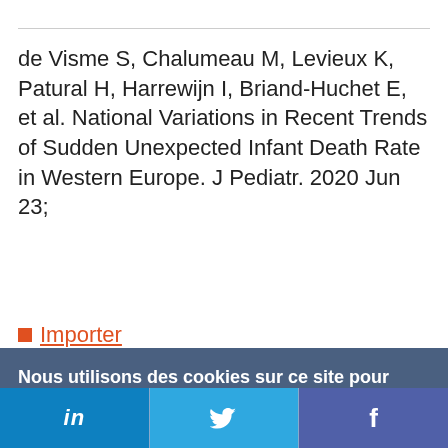de Visme S, Chalumeau M, Levieux K, Patural H, Harrewijn I, Briand-Huchet E, et al. National Variations in Recent Trends of Sudden Unexpected Infant Death Rate in Western Europe. J Pediatr. 2020 Jun 23;
Importer
Nous utilisons des cookies sur ce site pour améliorer votre expérience d'utilisateur.
En cliquant sur un lien de cette page, vous nous donnez votre consentement de définir des cookies.
Oui, je suis d'accord | Plus d'infos
in  |  🐦  |  f